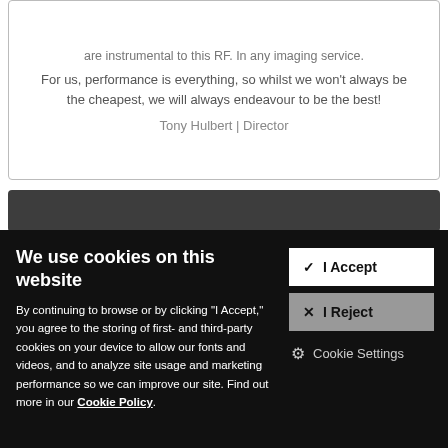are instrumental to this RF. In any imaging service.
For us, performance is everything, so whilst we won't always be the cheapest, we will always endeavour to be the best!
Tony Hulbert | Director
We use cookies on this website
By continuing to browse or by clicking "I Accept," you agree to the storing of first- and third-party cookies on your device to allow our fonts and videos, and to analyze site usage and marketing performance so we can improve our site. Find out more in our Cookie Policy.